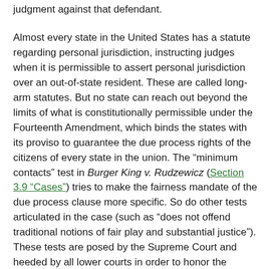judgment against that defendant.
Almost every state in the United States has a statute regarding personal jurisdiction, instructing judges when it is permissible to assert personal jurisdiction over an out-of-state resident. These are called long-arm statutes. But no state can reach out beyond the limits of what is constitutionally permissible under the Fourteenth Amendment, which binds the states with its proviso to guarantee the due process rights of the citizens of every state in the union. The “minimum contacts” test in Burger King v. Rudzewicz (Section 3.9 “Cases”) tries to make the fairness mandate of the due process clause more specific. So do other tests articulated in the case (such as “does not offend traditional notions of fair play and substantial justice”). These tests are posed by the Supreme Court and heeded by all lower courts in order to honor the provisions of the Fourteenth Amendment’s due process guarantees. These tests are in addition to any state long-arm statute’s instructions to courts regarding the assertion of personal jurisdiction over